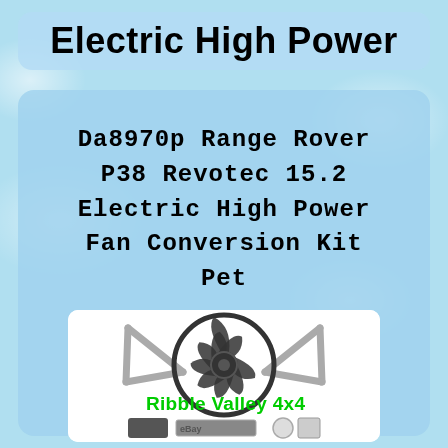Electric High Power
Da8970p Range Rover P38 Revotec 15.2 Electric High Power Fan Conversion Kit Pet
[Figure (photo): Electric cooling fan conversion kit product image showing a large black radiator fan with silver mounting brackets in a V-shape, with smaller components below including a controller and other parts. 'Ribble Valley 4x4' text in green overlay. eBay watermark visible at bottom.]